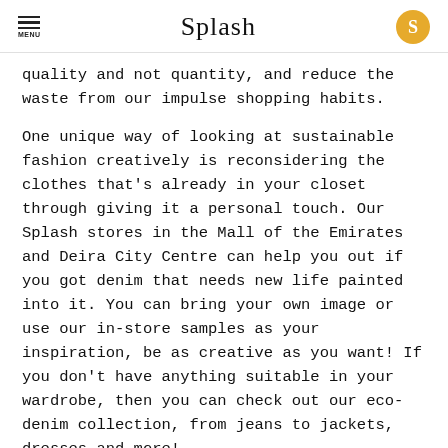Splash
quality and not quantity, and reduce the waste from our impulse shopping habits.
One unique way of looking at sustainable fashion creatively is reconsidering the clothes that's already in your closet through giving it a personal touch. Our Splash stores in the Mall of the Emirates and Deira City Centre can help you out if you got denim that needs new life painted into it. You can bring your own image or use our in-store samples as your inspiration, be as creative as you want! If you don't have anything suitable in your wardrobe, then you can check out our eco-denim collection, from jeans to jackets, dresses and more!
[Figure (photo): Photo of a person, partially visible, with blue background, at the bottom of the page]